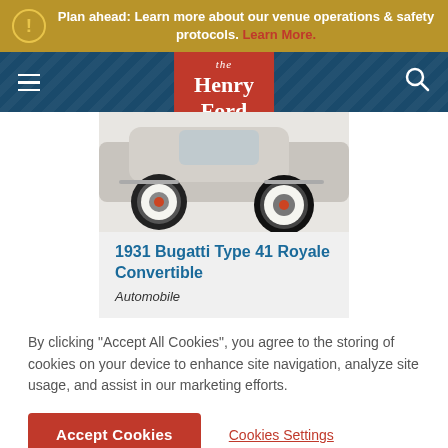Plan ahead: Learn more about our venue operations & safety protocols. Learn More.
[Figure (logo): The Henry Ford museum logo — white italic 'the', bold 'Henry Ford' on red/orange background]
[Figure (photo): 1931 Bugatti Type 41 Royale Convertible — partial view of car body and white-wall tire on light background]
1931 Bugatti Type 41 Royale Convertible
Automobile
By clicking "Accept All Cookies", you agree to the storing of cookies on your device to enhance site navigation, analyze site usage, and assist in our marketing efforts.
Accept Cookies
Cookies Settings